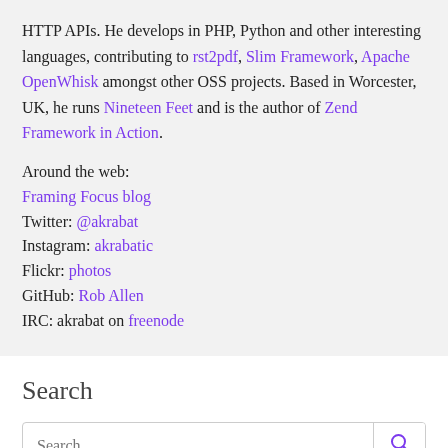HTTP APIs. He develops in PHP, Python and other interesting languages, contributing to rst2pdf, Slim Framework, Apache OpenWhisk amongst other OSS projects. Based in Worcester, UK, he runs Nineteen Feet and is the author of Zend Framework in Action.
Around the web:
Framing Focus blog
Twitter: @akrabat
Instagram: akrabatic
Flickr: photos
GitHub: Rob Allen
IRC: akrabat on freenode
Search
Other pages